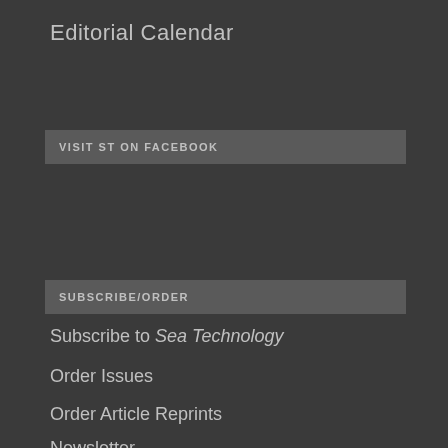Editorial Calendar
VISIT ST ON FACEBOOK
SUBSCRIBE/ORDER
Subscribe to Sea Technology
Order Issues
Order Article Reprints
Newsletter